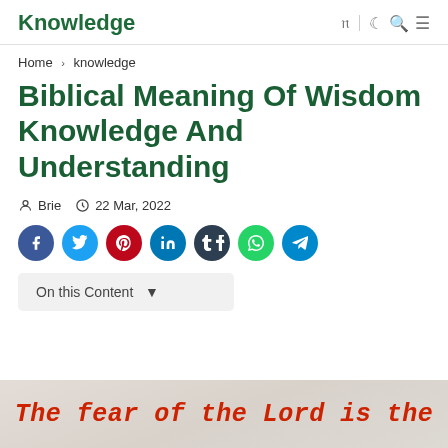Knowledge
Home > knowledge
Biblical Meaning Of Wisdom Knowledge And Understanding
Brie   22 Mar, 2022
[Figure (infographic): Social sharing buttons: Facebook (blue), Twitter (light blue), Pinterest (red), LinkedIn (dark blue), Tumblr (dark), WhatsApp (green), Telegram (blue)]
On this Content
[Figure (photo): Image with red cursive text reading: The fear of the Lord is the]